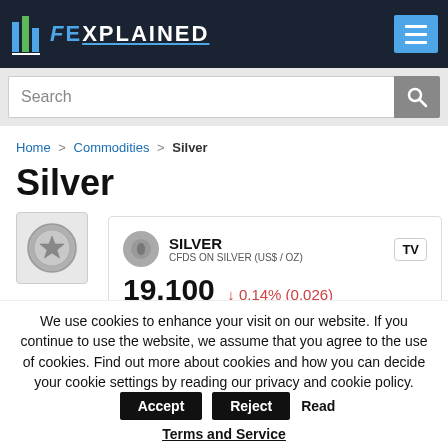FEXPLAINED — navigation header with logo and hamburger menu
Search
Home > Commodities > Silver
Silver
[Figure (other): Silver coin icon in a grey bordered box]
[Figure (other): TradingView widget card showing SILVER / CFDS ON SILVER (US$ / OZ) price 19.100 with change -0.14% (0.026)]
We use cookies to enhance your visit on our website. If you continue to use the website, we assume that you agree to the use of cookies. Find out more about cookies and how you can decide your cookie settings by reading our privacy and cookie policy. Accept Reject Read Terms and Service